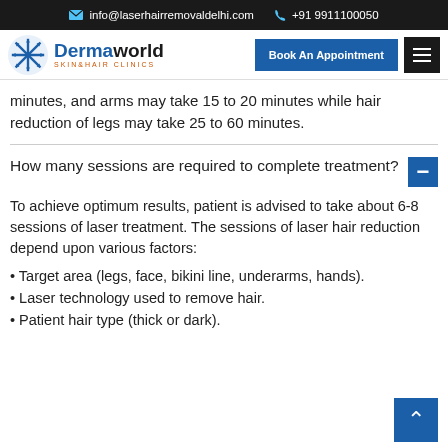info@laserhairremovaldelhi.com  +91 9911100050
[Figure (logo): Dermaworld Skin & Hair Clinics logo with snowflake icon]
minutes, and arms may take 15 to 20 minutes while hair reduction of legs may take 25 to 60 minutes.
How many sessions are required to complete treatment?
To achieve optimum results, patient is advised to take about 6-8 sessions of laser treatment. The sessions of laser hair reduction depend upon various factors:
Target area (legs, face, bikini line, underarms, hands).
Laser technology used to remove hair.
Patient hair type (thick or dark).